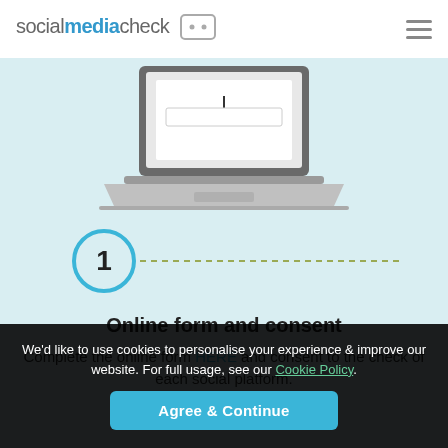socialmediacheck [chat icon] ☰
[Figure (illustration): Laptop computer illustration with open screen showing a form with a text cursor, displayed on a light blue background]
[Figure (infographic): Step 1 circle badge in blue outline with the number 1 inside, followed by a dashed olive/green horizontal line extending to the right]
Online form and consent
Complete the online form HERE and consent to the check of each social platform.
We'd like to use cookies to personalise your experience & improve our website. For full usage, see our Cookie Policy.
Agree & Continue